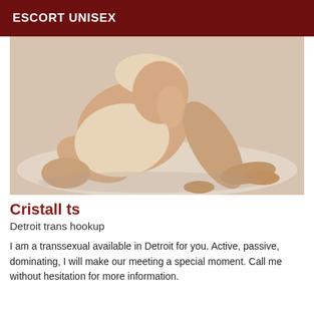ESCORT UNISEX
[Figure (photo): A person in beige/nude underwear posing on a white surface, photographed from behind/side, kneeling position.]
Cristall ts
Detroit trans hookup
I am a transsexual available in Detroit for you. Active, passive, dominating, I will make our meeting a special moment. Call me without hesitation for more information.